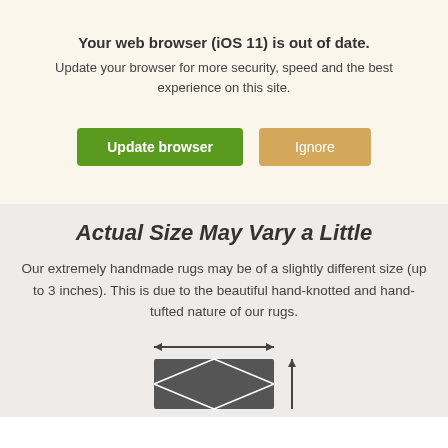Your web browser (iOS 11) is out of date. Update your browser for more security, speed and the best experience on this site.
[Figure (screenshot): Two buttons: green 'Update browser' button and tan/gold 'Ignore' button]
Actual Size May Vary a Little
Our extremely handmade rugs may be of a slightly different size (up to 3 inches). This is due to the beautiful hand-knotted and hand-tufted nature of our rugs.
[Figure (illustration): Diagram showing a rug with horizontal double-headed arrow (width) and vertical arrow (height)]